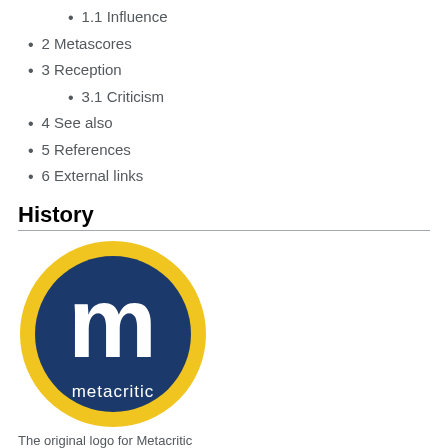1.1 Influence
2 Metascores
3 Reception
3.1 Criticism
4 See also
5 References
6 External links
History
[Figure (logo): The original Metacritic logo: a yellow circle border containing a dark blue circle with a large white letter 'm' and the word 'metacritic' in white text at the bottom.]
The original logo for Metacritic
Metacritic was launched in January 2001[4] by Marc Doyle, his sister Julie Doyle Roberts, and a classmate from the